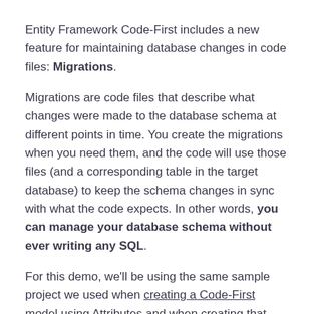Entity Framework Code-First includes a new feature for maintaining database changes in code files: Migrations.
Migrations are code files that describe what changes were made to the database schema at different points in time. You create the migrations when you need them, and the code will use those files (and a corresponding table in the target database) to keep the schema changes in sync with what the code expects. In other words, you can manage your database schema without ever writing any SQL.
For this demo, we'll be using the same sample project we used when creating a Code-First model using Attributes and when creating that same model using FluentAPI. Let's get started!